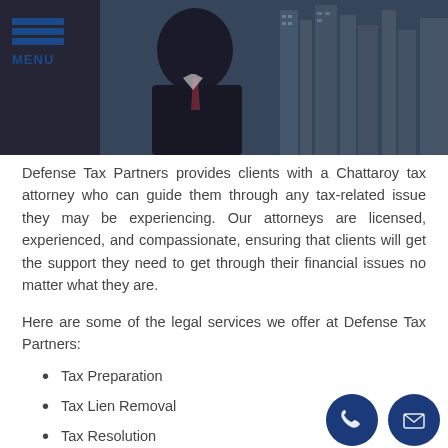[Figure (photo): Professional in dark suit outdoors with city buildings in background, hero banner image]
MENU
Defense Tax Partners provides clients with a Chattaroy tax attorney who can guide them through any tax-related issue they may be experiencing. Our attorneys are licensed, experienced, and compassionate, ensuring that clients will get the support they need to get through their financial issues no matter what they are.
Here are some of the legal services we offer at Defense Tax Partners:
Tax Preparation
Tax Lien Removal
Tax Resolution
Offer in Compromise
Wage Garnishment Removal
Bank Levy Removal
Innocent Spouse